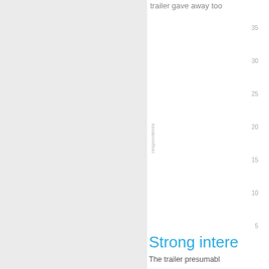trailer gave away too
[Figure (bar-chart): Partial bar chart visible, y-axis showing values 5, 10, 15, 20, 25, 30, 35 with label 'respondents']
Strong intere
The trailer presumabl